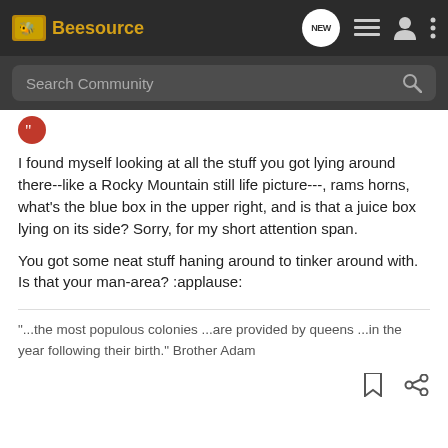Beesource — navigation bar with search
I found myself looking at all the stuff you got lying around there--like a Rocky Mountain still life picture---, rams horns, what's the blue box in the upper right, and is that a juice box lying on its side? Sorry, for my short attention span.

You got some neat stuff haning around to tinker around with. Is that your man-area? :applause:
"...the most populous colonies ...are provided by queens ...in the year following their birth." Brother Adam